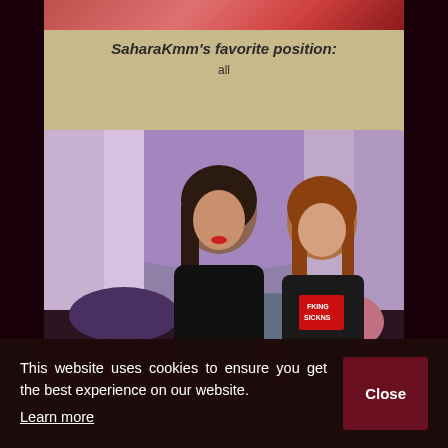SaharaKmm's favorite position:
all
[Figure (photo): Two women sitting together in a room with purple lighting and cushions behind them.]
This website uses cookies to ensure you get the best experience on our website. Learn more